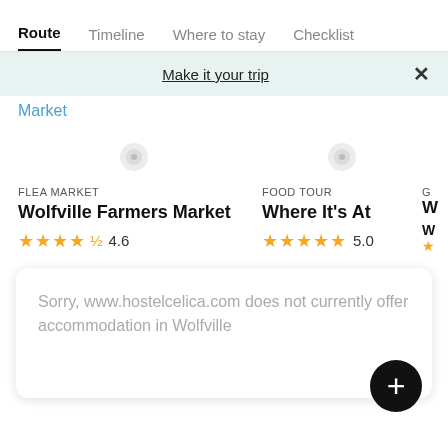Route | Timeline | Where to stay | Checklist
Make it your trip
Market
FLEA MARKET
Wolfville Farmers Market
★★★★½ 4.6
FOOD TOUR
Where It's At
★★★★★ 5.0
Sorry, www.hostelcelica.com does not currently offer accommodation in Wolfville